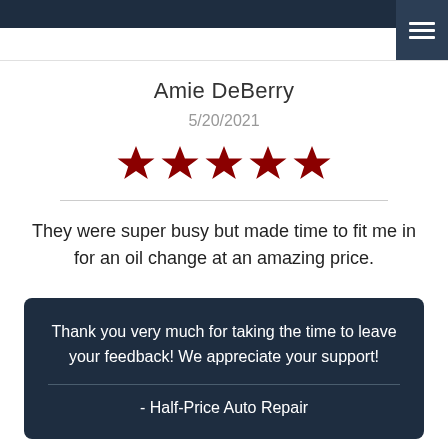[Figure (screenshot): Dark navy top navigation bar with hamburger menu icon (three white horizontal lines) on the right side]
Amie DeBerry
5/20/2021
[Figure (other): Five dark red filled star icons representing a 5-star rating]
They were super busy but made time to fit me in for an oil change at an amazing price.
Thank you very much for taking the time to leave your feedback! We appreciate your support!

- Half-Price Auto Repair